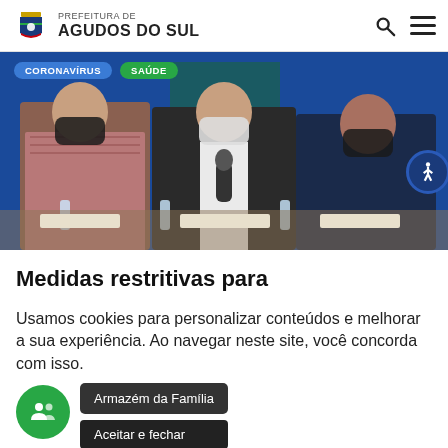PREFEITURA DE AGUDOS DO SUL
[Figure (photo): Three men wearing face masks seated at a table with Brazilian flags in the background, during what appears to be a press conference or government meeting.]
CORONAVÍRUS
SAÚDE
Medidas restritivas para
Usamos cookies para personalizar conteúdos e melhorar a sua experiência. Ao navegar neste site, você concorda com isso.
Armazém da Família
Aceitar e fechar